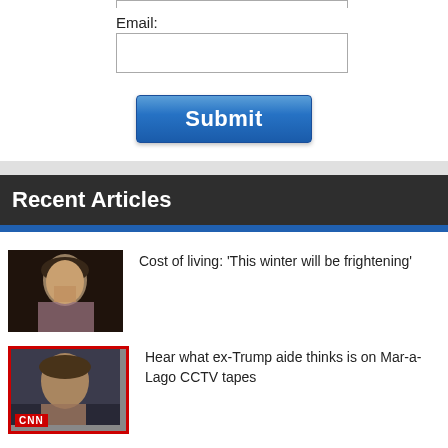[Figure (screenshot): Top partial input box (cropped at top)]
Email:
[Figure (screenshot): Email text input field]
[Figure (screenshot): Submit button (blue gradient)]
Recent Articles
[Figure (photo): Woman with glasses, dark background, article thumbnail]
Cost of living: 'This winter will be frightening'
[Figure (photo): CNN thumbnail showing man's face with CNN logo]
Hear what ex-Trump aide thinks is on Mar-a-Lago CCTV tapes